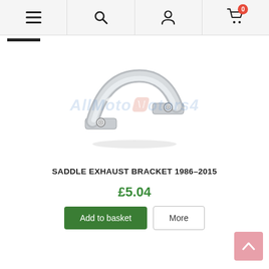Navigation bar with menu, search, account, and cart (0 items) icons
[Figure (photo): Saddle exhaust bracket, a metal U-shaped clamp with two bolt holes, silver/chrome finish, shown on white background with AllMoto watermark]
SADDLE EXHAUST BRACKET 1986-2015
£5.04
Add to basket | More